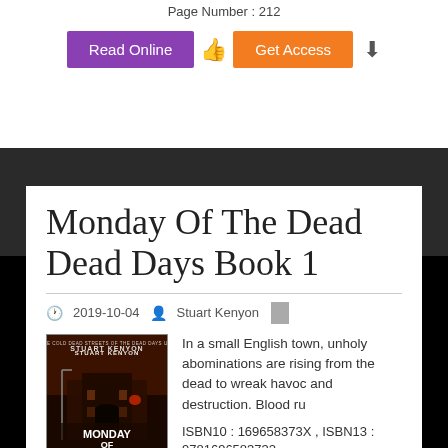Page Number: 212
Read Online  Get Access
Monday Of The Dead Dead Days Book 1
2019-10-04  Stuart Kenyon
[Figure (illustration): Book cover of Monday Of The Dead by Stuart Kenyon, showing a dark town scene with red-orange tones]
In a small English town, unholy abominations are rising from the dead to wreak havoc and destruction. Blood ru
ISBN10 : 169658373X , ISBN13 : 9781696583732